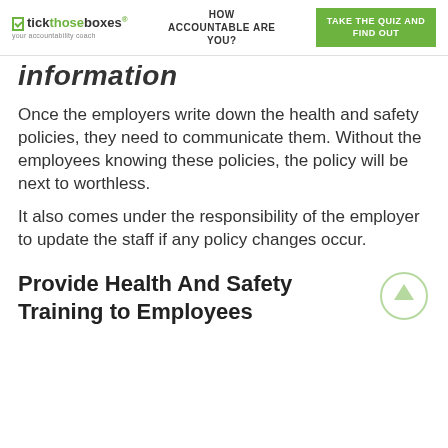tickthoseboxes® | HOW ACCOUNTABLE ARE YOU? | TAKE THE QUIZ AND FIND OUT
information
Once the employers write down the health and safety policies, they need to communicate them. Without the employees knowing these policies, the policy will be next to worthless.
It also comes under the responsibility of the employer to update the staff if any policy changes occur.
Provide Health And Safety Training to Employees